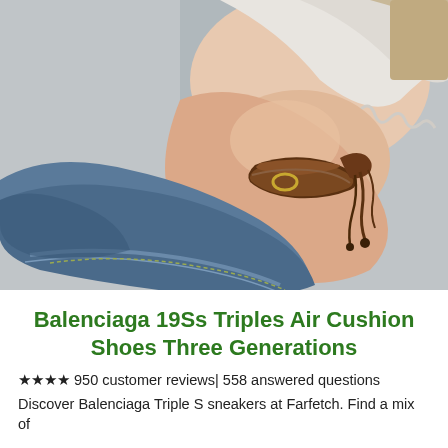[Figure (photo): Close-up photo of a person's wrist wearing a brown leather adjustable bracelet with knotted cord detail. The person is wearing a white shirt with ruffled edge and blue jeans, against a gray fabric background.]
Balenciaga 19Ss Triples Air Cushion Shoes Three Generations
★★★★ 950 customer reviews| 558 answered questions
Discover Balenciaga Triple S sneakers at Farfetch. Find a mix of